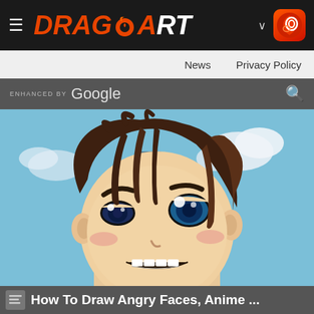DRAGOART — Navigation bar with hamburger menu, logo, and app icon
News   Privacy Policy
ENHANCED BY Google [search bar]
[Figure (illustration): Anime-style illustration of an angry boy face with brown hair, blue eyes, flushed cheeks, and a sky/clouds background]
How To Draw Angry Faces, Anime ...